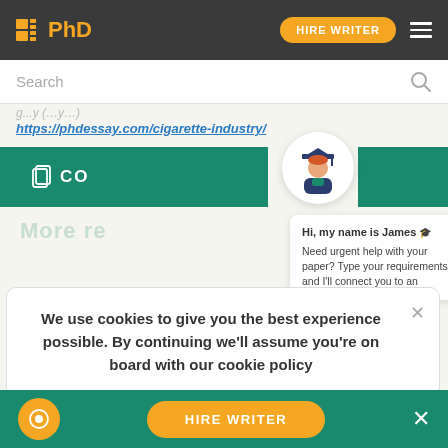PhD | HIRE WRITER
Search
https://phdessay.com/cigarette-industry/
CO…
[Figure (illustration): Chat avatar of a student wearing graduation cap]
Hi, my name is James
Need urgent help with your paper? Type your requirements and I'll connect you to an
More re…
We use cookies to give you the best experience possible. By continuing we'll assume you're on board with our cookie policy
unit in ham
HIRE WRITER